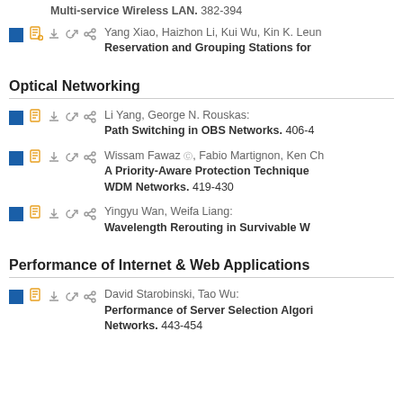Multi-service Wireless LAN. 382-394
Yang Xiao, Haizhon Li, Kui Wu, Kin K. Leun... Reservation and Grouping Stations for
Optical Networking
Li Yang, George N. Rouskas: Path Switching in OBS Networks. 406-4...
Wissam Fawaz, Fabio Martignon, Ken Ch... A Priority-Aware Protection Technique... WDM Networks. 419-430
Yingyu Wan, Weifa Liang: Wavelength Rerouting in Survivable W...
Performance of Internet & Web Applications
David Starobinski, Tao Wu: Performance of Server Selection Algori... Networks. 443-454